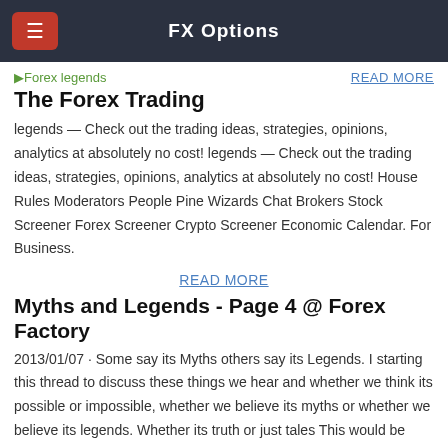FX Options
Forex legends   READ MORE
The Forex Trading
legends — Check out the trading ideas, strategies, opinions, analytics at absolutely no cost! legends — Check out the trading ideas, strategies, opinions, analytics at absolutely no cost! House Rules Moderators People Pine Wizards Chat Brokers Stock Screener Forex Screener Crypto Screener Economic Calendar. For Business.
READ MORE
Myths and Legends - Page 4 @ Forex Factory
2013/01/07 · Some say its Myths others say its Legends. I starting this thread to discuss these things we hear and whether we think its possible or impossible, whether we believe its myths or whether we believe its legends. Whether its truth or just tales This would be very interesting as i know traders from all over the world